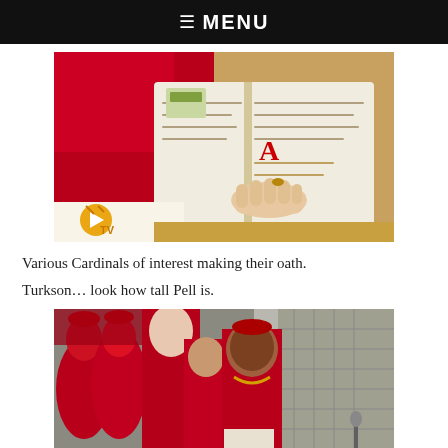☰ MENU
[Figure (photo): Close-up of a Cardinal's red-robed hand resting on an open book/ledger, with a TV channel logo watermark in the lower left corner.]
Various Cardinals of interest making their oath.
Turkson… look how tall Pell is.
[Figure (photo): Group of Cardinals dressed in red robes standing together; includes a tall Cardinal (Pell) in the background and Cardinal Turkson in the foreground right.]